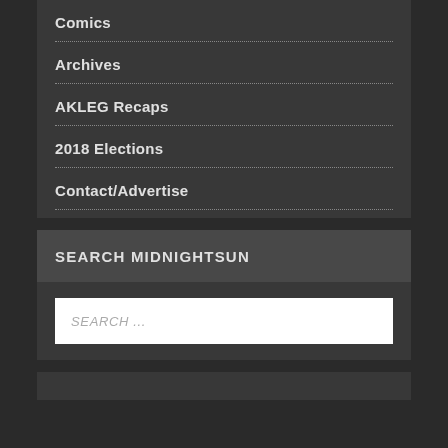Comics
Archives
AKLEG Recaps
2018 Elections
Contact/Advertise
SEARCH MIDNIGHTSUN
SEARCH ...